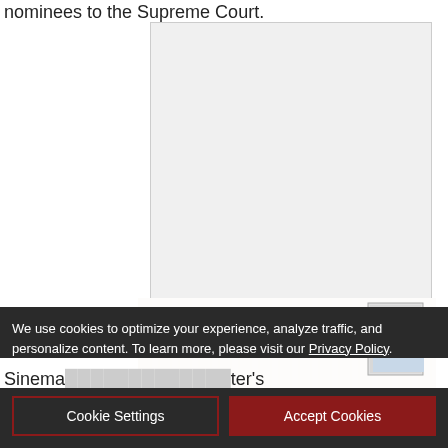nominees to the Supreme Court.
[Figure (photo): Partial image of a coffee cup on a wooden surface, partially overlaid by a North Bay Business Journal advertisement]
[Figure (infographic): North Bay Business Journal advertisement with text 'NORTH BAY Business Journal' and 'GET FREE 24-MONTH SUBSCRIPTION']
Sinema... ter's importa...
We use cookies to optimize your experience, analyze traffic, and personalize content. To learn more, please visit our Privacy Policy.
Cookie Settings
Accept Cookies